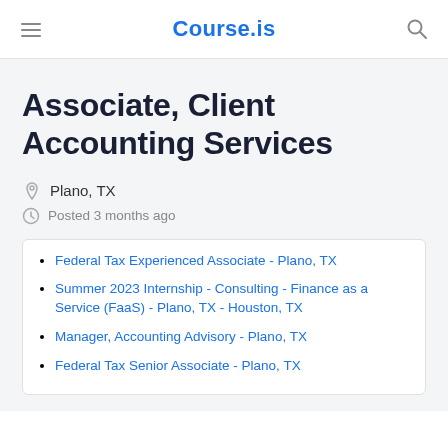Course.is
Associate, Client Accounting Services
Plano, TX
Posted 3 months ago
Federal Tax Experienced Associate - Plano, TX
Summer 2023 Internship - Consulting - Finance as a Service (FaaS) - Plano, TX - Houston, TX
Manager, Accounting Advisory - Plano, TX
Federal Tax Senior Associate - Plano, TX